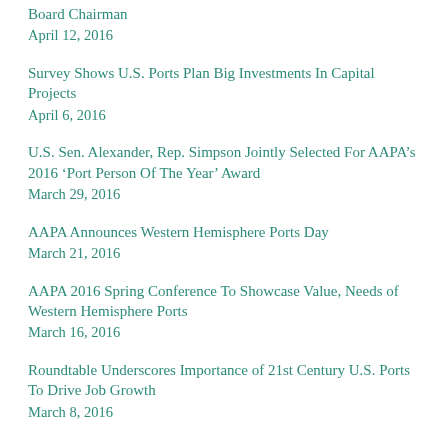Board Chairman
April 12, 2016
Survey Shows U.S. Ports Plan Big Investments In Capital Projects
April 6, 2016
U.S. Sen. Alexander, Rep. Simpson Jointly Selected For AAPA’s 2016 ‘Port Person Of The Year’ Award
March 29, 2016
AAPA Announces Western Hemisphere Ports Day
March 21, 2016
AAPA 2016 Spring Conference To Showcase Value, Needs of Western Hemisphere Ports
March 16, 2016
Roundtable Underscores Importance of 21st Century U.S. Ports To Drive Job Growth
March 8, 2016